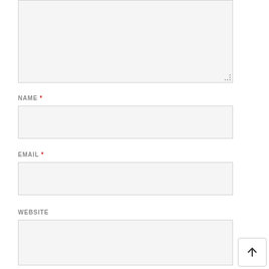[Figure (screenshot): A textarea form field (empty, light gray background) with a resize handle in the bottom-right corner]
NAME *
[Figure (screenshot): A single-line text input field for NAME (empty, light gray background)]
EMAIL *
[Figure (screenshot): A single-line text input field for EMAIL (empty, light gray background)]
WEBSITE
[Figure (screenshot): A single-line text input field for WEBSITE (empty, light gray background), with a back-to-top button in the bottom-right corner of the page]